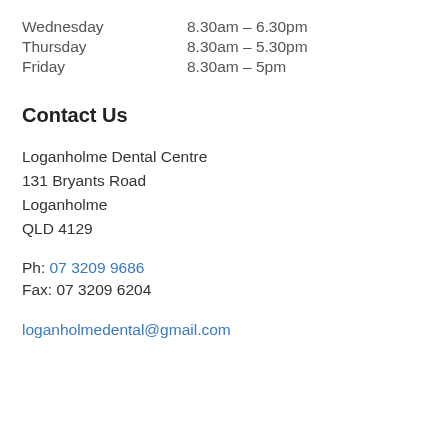Wednesday    8.30am – 6.30pm
Thursday    8.30am – 5.30pm
Friday    8.30am – 5pm
Contact Us
Loganholme Dental Centre
131 Bryants Road
Loganholme
QLD 4129
Ph: 07 3209 9686
Fax: 07 3209 6204
loganholmedental@gmail.com